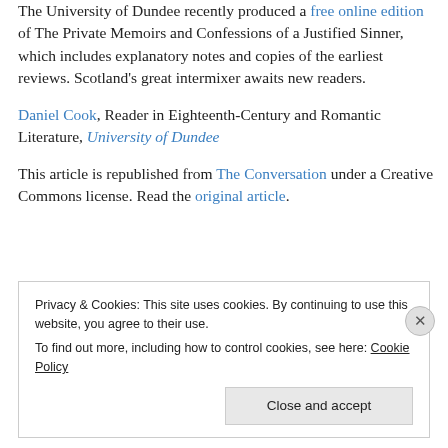The University of Dundee recently produced a free online edition of The Private Memoirs and Confessions of a Justified Sinner, which includes explanatory notes and copies of the earliest reviews. Scotland's great intermixer awaits new readers.
Daniel Cook, Reader in Eighteenth-Century and Romantic Literature, University of Dundee
This article is republished from The Conversation under a Creative Commons license. Read the original article.
Privacy & Cookies: This site uses cookies. By continuing to use this website, you agree to their use. To find out more, including how to control cookies, see here: Cookie Policy